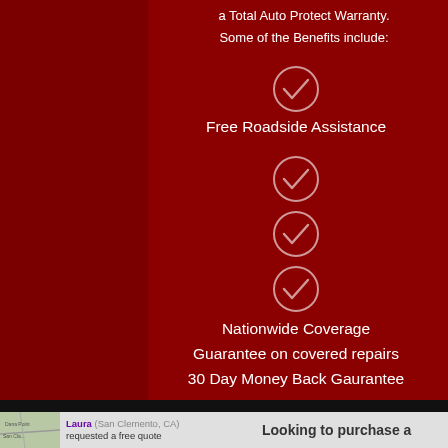a Total Auto Protect Warranty.
Some of the Benefits include:
Free Roadside Assistance
Nationwide Coverage
Guarantee on covered repairs
30 Day Money Back Gaurantee
Laura (San Clemento, CA) requested a free quote
Looking to purchase a Mazda CX-9?